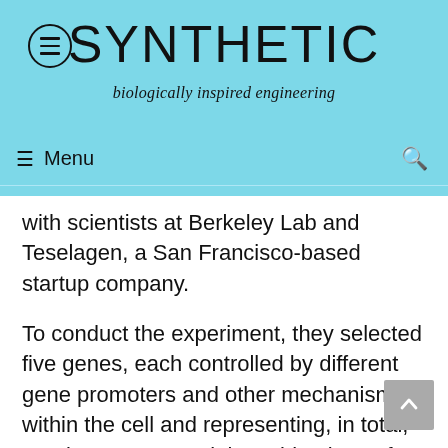SYNTHETIC
biologically inspired engineering
≡  Menu  🔍
with scientists at Berkeley Lab and Teselagen, a San Francisco-based startup company.
To conduct the experiment, they selected five genes, each controlled by different gene promoters and other mechanisms within the cell and representing, in total, nearly 8,000 potential combinations of biological pathways. The researchers in Denmark then obtained experimental